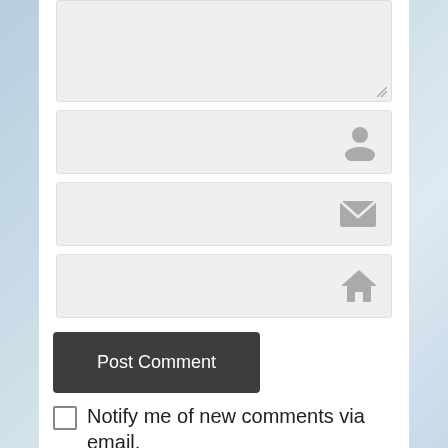[Figure (screenshot): Web comment form with textarea, name/email/website input fields with icons, Post Comment button, and notification checkboxes]
Post Comment
Notify me of new comments via email.
Notify me of new comments via email.